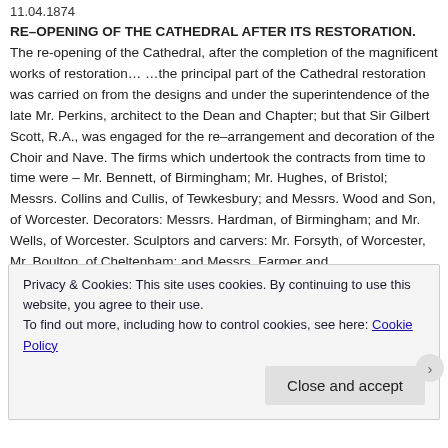11.04.1874
RE–OPENING OF THE CATHEDRAL AFTER ITS RESTORATION. The re-opening of the Cathedral, after the completion of the magnificent works of restoration… …the principal part of the Cathedral restoration was carried on from the designs and under the superintendence of the late Mr. Perkins, architect to the Dean and Chapter; but that Sir Gilbert Scott, R.A., was engaged for the re–arrangement and decoration of the Choir and Nave. The firms which undertook the contracts from time to time were – Mr. Bennett, of Birmingham; Mr. Hughes, of Bristol; Messrs. Collins and Cullis, of Tewkesbury; and Messrs. Wood and Son, of Worcester. Decorators: Messrs. Hardman, of Birmingham; and Mr. Wells, of Worcester. Sculptors and carvers: Mr. Forsyth, of Worcester, Mr. Boulton, of Cheltenham; and Messrs. Farmer and
Privacy & Cookies: This site uses cookies. By continuing to use this website, you agree to their use.
To find out more, including how to control cookies, see here: Cookie Policy

Close and accept